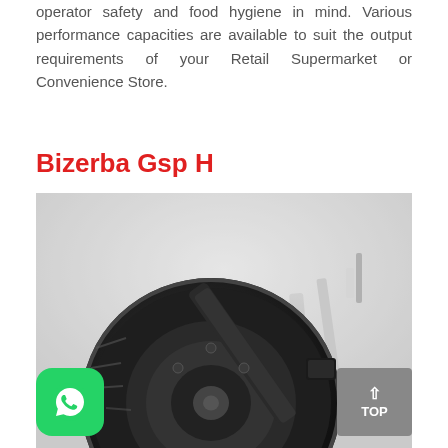operator safety and food hygiene in mind. Various performance capacities are available to suit the output requirements of your Retail Supermarket or Convenience Store.
Bizerba Gsp H
[Figure (photo): Close-up photo of a Bizerba Gsp H meat slicer machine showing its dark circular blade housing and arm mechanism on a light grey background.]